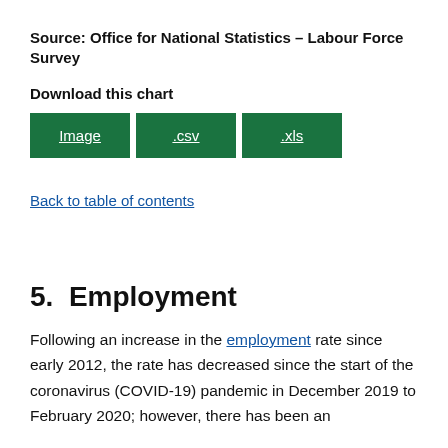Source: Office for National Statistics – Labour Force Survey
Download this chart
[Figure (other): Three green download buttons labeled Image, .csv, .xls]
Back to table of contents
5.  Employment
Following an increase in the employment rate since early 2012, the rate has decreased since the start of the coronavirus (COVID-19) pandemic in December 2019 to February 2020; however, there has been an